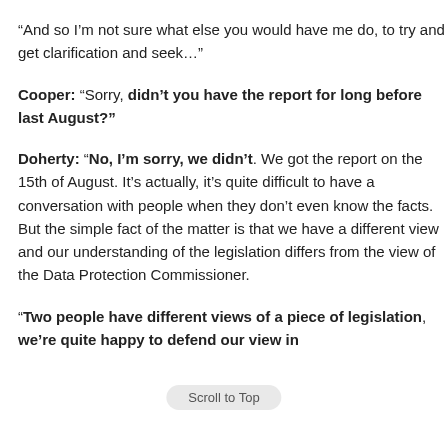“And so I’m not sure what else you would have me do, to try and get clarification and seek…”
Cooper: “Sorry, didn’t you have the report for long before last August?”
Doherty: “No, I’m sorry, we didn’t. We got the report on the 15th of August. It’s actually, it’s quite difficult to have a conversation with people when they don’t even know the facts. But the simple fact of the matter is that we have a different view and our understanding of the legislation differs from the view of the Data Protection Commissioner.
“Two people have different views of a piece of legislation, we’re quite happy to defend our view in